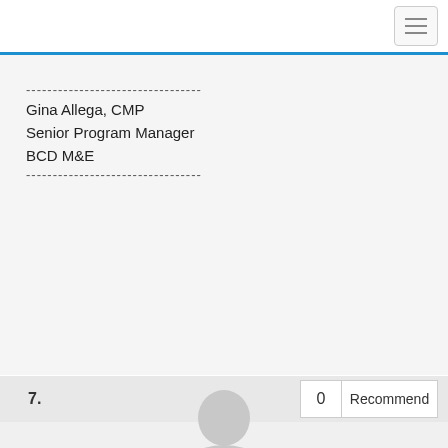-----------------------------------
Gina Allega, CMP
Senior Program Manager
BCD M&E
-----------------------------------
[Figure (other): Blue button labeled '> Original Message']
7.    0    Recommend
[Figure (photo): Generic grey silhouette avatar placeholder image]